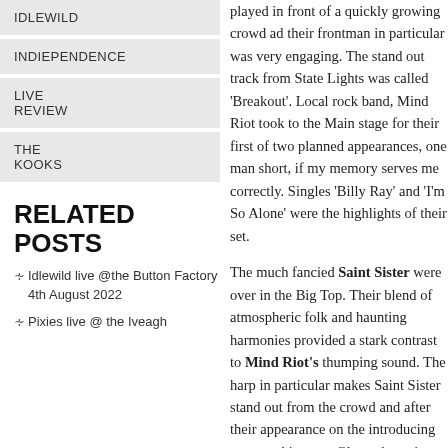IDLEWILD
INDIEPENDENCE
LIVE REVIEW
THE KOOKS
RELATED POSTS
Idlewild live @the Button Factory 4th August 2022
Pixies live @ the Iveagh
played in front of a quickly growing crowd ad their frontman in particular was very engaging. The stand out track from State Lights was called ‘Breakout’. Local rock band, Mind Riot took to the Main stage for their first of two planned appearances, one man short, if my memory serves me correctly. Singles ‘Billy Ray’ and ‘I’m So Alone’ were the highlights of their set.
The much fancied Saint Sister were over in the Big Top. Their blend of atmospheric folk and haunting harmonies provided a stark contrast to Mind Riot's thumping sound. The harp in particular makes Saint Sister stand out from the crowd and after their appearance on the introducing stage at this years Glastonbury, it would appear the world is now watching the duo.
Cleere's Bar Kilkenny, 3rd November 2018
Posted by Paul Page on Nov 20, 2018
All Our Lives Spent Underground: Dublin's finest music venue remembered
Posted by Paul Page on Nov 27, 2015
Rewind: 10 Most Underrated Irish Bands of the 80s